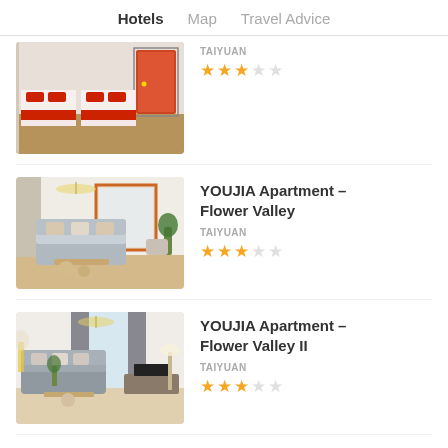Hotels   Map   Travel Advice
[Figure (photo): Hotel room with two beds, red pillows and red bed runners, light wood floor, orange/red door]
TAIYUAN
★★★☆☆ (3 stars out of 5)
[Figure (photo): Modern apartment living room with grey sofa, chandelier, large windows, decorative plants]
YOUJIA Apartment – Flower Valley
TAIYUAN
★★★☆☆ (3 stars out of 5)
[Figure (photo): Modern apartment living room with grey sofa, large windows with grey curtains, TV unit, decorative items]
YOUJIA Apartment – Flower Valley II
TAIYUAN
★★★☆☆ (3 stars out of 5)